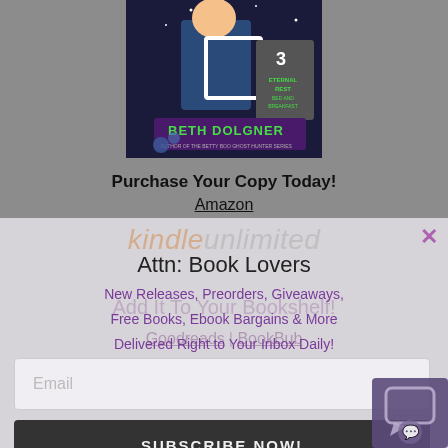[Figure (illustration): Book cover for 'Eternal Rest Bed and Breakfast' by Beth Dolgner, showing a cartoon character in a blue suit holding a white frame, with a gravestone numbered 3, set at night. Author name displayed in green/purple text at bottom.]
Purchase Your Copy Today!
Amazon
Attn: Book Lovers
New Releases, Preorders, Giveaways, Free Books, Ebook Bargains & More Delivered Right to Your Inbox Daily!
Email
SUBSCRIBE NOW!
No thanks, I'm not interested